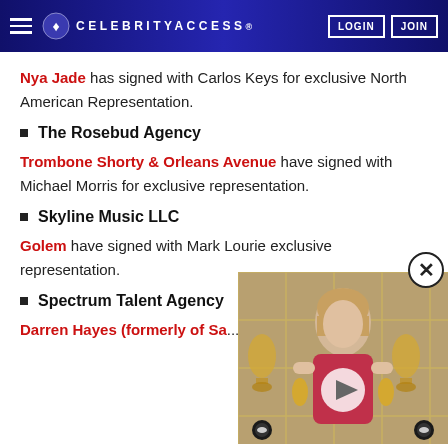CELEBRITYACCESS. LOGIN JOIN
Nya Jade has signed with Carlos Keys for exclusive North American Representation.
The Rosebud Agency
Trombone Shorty & Orleans Avenue have signed with Michael Morris for exclusive representation.
Skyline Music LLC
Golem have signed with Mark Lourie exclusive representation.
Spectrum Talent Agency
Darren Hayes (formerly of Sa...
[Figure (photo): Video thumbnail overlay showing a woman holding Grammy awards, with a play button and close (X) button. Grammy logo background visible.]